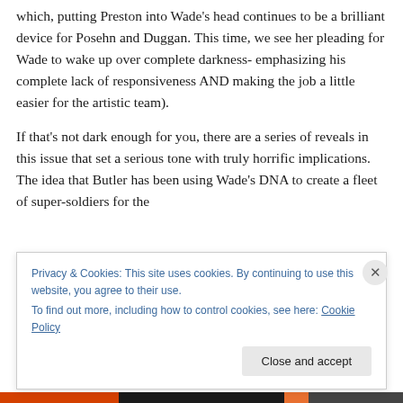which, putting Preston into Wade's head continues to be a brilliant device for Posehn and Duggan. This time, we see her pleading for Wade to wake up over complete darkness- emphasizing his complete lack of responsiveness AND making the job a little easier for the artistic team).
If that's not dark enough for you, there are a series of reveals in this issue that set a serious tone with truly horrific implications. The idea that Butler has been using Wade's DNA to create a fleet of super-soldiers for the
Privacy & Cookies: This site uses cookies. By continuing to use this website, you agree to their use.
To find out more, including how to control cookies, see here: Cookie Policy
Close and accept